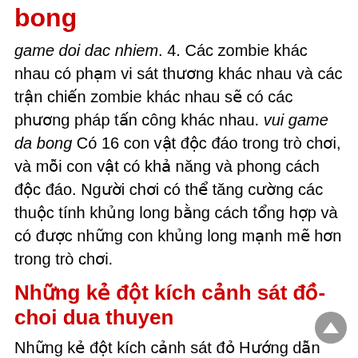bong
game doi dac nhiem. 4. Các zombie khác nhau có phạm vi sát thương khác nhau và các trận chiến zombie khác nhau sẽ có các phương pháp tấn công khác nhau. vui game da bong Có 16 con vật độc đáo trong trò chơi, và mỗi con vật có khả năng và phong cách độc đáo. Người chơi có thể tăng cường các thuộc tính khủng long bằng cách tổng hợp và có được những con khủng long mạnh mẽ hơn trong trò chơi.
Những kẻ đột kích cảnh sát đồ-choi dua thuyen
Những kẻ đột kích cảnh sát đỏ Hướng dẫn phòng thủ tối mô tả